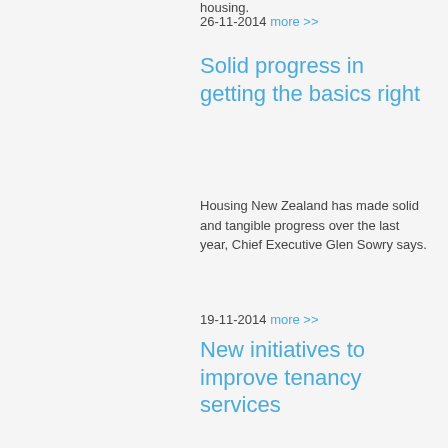housing.
26-11-2014 more >>
Solid progress in getting the basics right
Housing New Zealand has made solid and tangible progress over the last year, Chief Executive Glen Sowry says.
19-11-2014 more >>
New initiatives to improve tenancy services
A new FastTrack Resolution service will be available from today to all landlords and tenants
17-11-2014 more >>